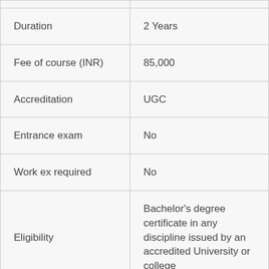|  |  |
| --- | --- |
| Duration | 2 Years |
| Fee of course (INR) | 85,000 |
| Accreditation | UGC |
| Entrance exam | No |
| Work ex required | No |
| Eligibility | Bachelor's degree certificate in any discipline issued by an accredited University or college |